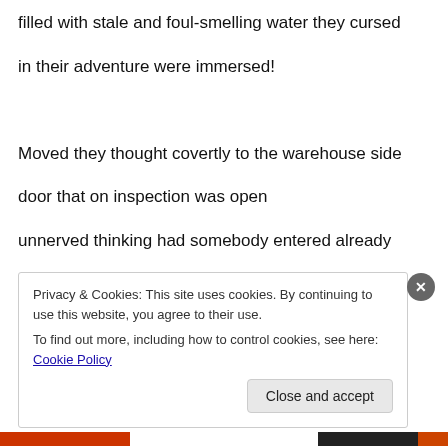filled with stale and foul-smelling water they cursed
in their adventure were immersed!
Moved they thought covertly to the warehouse side
door that on inspection was open
unnerved thinking had somebody entered already
pulling it open quickly went in
Privacy & Cookies: This site uses cookies. By continuing to use this website, you agree to their use.
To find out more, including how to control cookies, see here: Cookie Policy